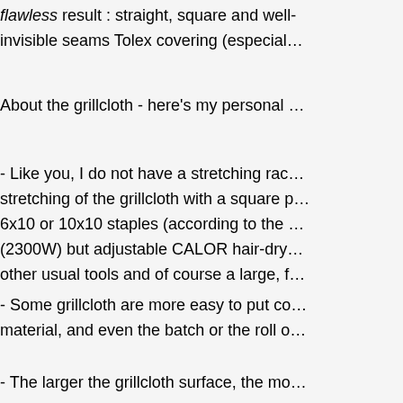flawless result : straight, square and well-fitted with invisible seams Tolex covering (especial…
About the grillcloth - here's my personal …
- Like you, I do not have a stretching rack… stretching of the grillcloth with a square p… 6x10 or 10x10 staples (according to the … (2300W) but adjustable CALOR hair-dry… other usual tools and of course a large, f…
- Some grillcloth are more easy to put co… material, and even the batch or the roll o…
- The larger the grillcloth surface, the mo…
- When you have cut your grillcloth shee… around for gripping and stapling), you ma… (usually the bottom) in accordance with t… where you will place the matching edge …
- There is roughly 2 categories of grillclo… mixed ones, but I never had it to put. A q… a lighter : if it burns = vegetal, if it melts =…
PLASTIC :